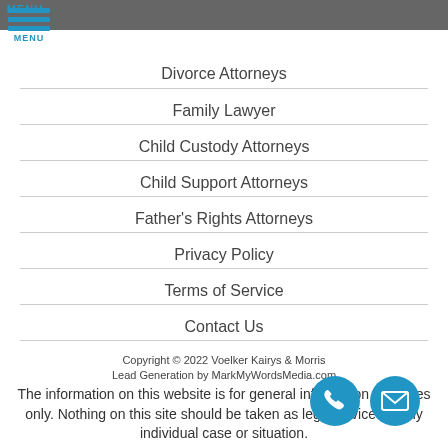Divorce Attorneys
Family Lawyer
Child Custody Attorneys
Child Support Attorneys
Father's Rights Attorneys
Privacy Policy
Terms of Service
Contact Us
Copyright © 2022 Voelker Kairys & Morris
Lead Generation by MarkMyWordsMedia.com
The information on this website is for general information purposes only. Nothing on this site should be taken as legal advice for any individual case or situation.